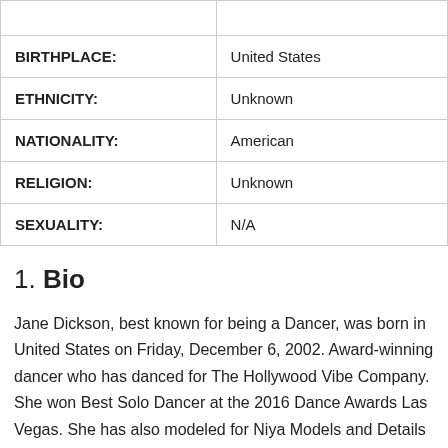|  |  |
| --- | --- |
| BIRTHPLACE: | United States |
| ETHNICITY: | Unknown |
| NATIONALITY: | American |
| RELIGION: | Unknown |
| SEXUALITY: | N/A |
1. Bio
Jane Dickson, best known for being a Dancer, was born in United States on Friday, December 6, 2002. Award-winning dancer who has danced for The Hollywood Vibe Company. She won Best Solo Dancer at the 2016 Dance Awards Las Vegas. She has also modeled for Niya Models and Details Dancewear.
Family: She was born and raised in Los Angeles, California. She